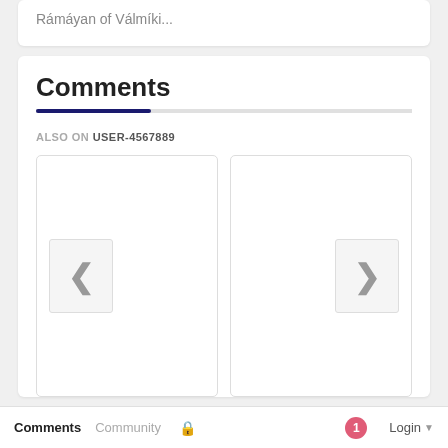Rámáyan of Válmíki...
Comments
ALSO ON USER-4567889
[Figure (screenshot): Carousel navigation panel with left chevron button on left panel and right chevron button on right panel, both panels with white background and light border]
Comments  Community  🔒  1  Login ▾